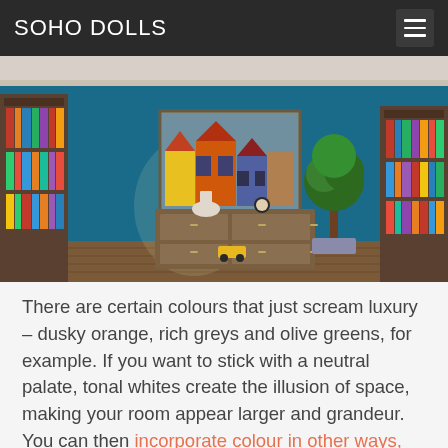SOHO DOLLS
[Figure (photo): Interior room photo showing a teal/blue wall with a colorful painting of European houses, two dark wooden bookshelves on either side, a floor lamp, a wooden sideboard/dresser in the center, a topiary plant, and hardwood floors with a toy car.]
There are certain colours that just scream luxury – dusky orange, rich greys and olive greens, for example. If you want to stick with a neutral palate, tonal whites create the illusion of space, making your room appear larger and grandeur. You can then incorporate colour in other ways, for example, hand-painted wardrobe